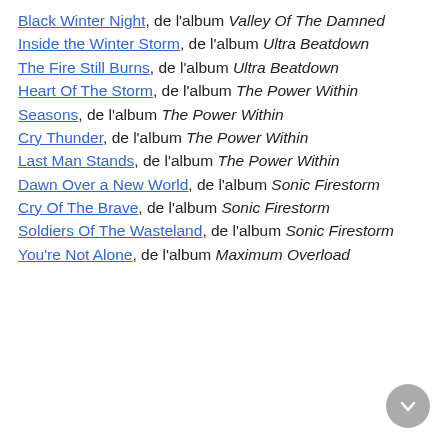Black Winter Night, de l'album Valley Of The Damned
Inside the Winter Storm, de l'album Ultra Beatdown
The Fire Still Burns, de l'album Ultra Beatdown
Heart Of The Storm, de l'album The Power Within
Seasons, de l'album The Power Within
Cry Thunder, de l'album The Power Within
Last Man Stands, de l'album The Power Within
Dawn Over a New World, de l'album Sonic Firestorm
Cry Of The Brave, de l'album Sonic Firestorm
Soldiers Of The Wasteland, de l'album Sonic Firestorm
You're Not Alone, de l'album Maximum Overload